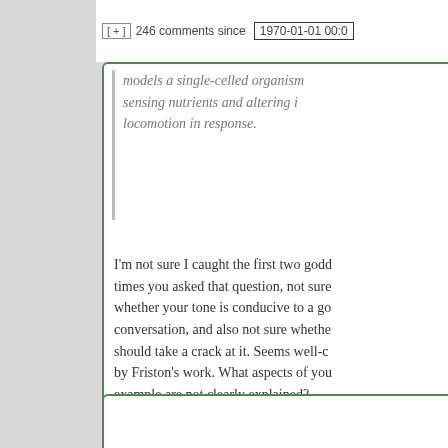[ + ]  246 comments since  1970-01-01 00:0
models a single-celled organism sensing nutrients and altering its locomotion in response.
I'm not sure I caught the first two goddamn times you asked that question, not sure whether your tone is conducive to a good conversation, and also not sure whether I should take a crack at it. Seems well-covered by Friston's work. What aspects of your example are not clearly explained?
Hide ↑
Tracy W says:
March 6, 2018 at 7:21 pm ~new~
the fundamental value is survival (continuity of the organism's form and